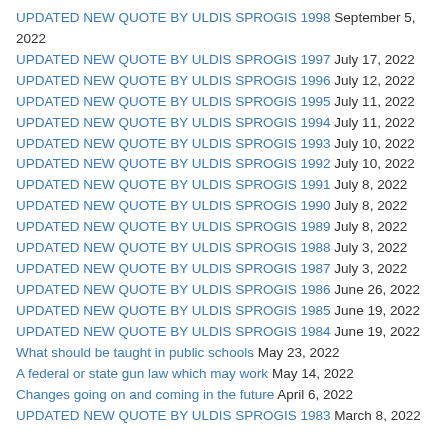UPDATED NEW QUOTE BY ULDIS SPROGIS 1998 September 5, 2022
UPDATED NEW QUOTE BY ULDIS SPROGIS 1997 July 17, 2022
UPDATED NEW QUOTE BY ULDIS SPROGIS 1996 July 12, 2022
UPDATED NEW QUOTE BY ULDIS SPROGIS 1995 July 11, 2022
UPDATED NEW QUOTE BY ULDIS SPROGIS 1994 July 11, 2022
UPDATED NEW QUOTE BY ULDIS SPROGIS 1993 July 10, 2022
UPDATED NEW QUOTE BY ULDIS SPROGIS 1992 July 10, 2022
UPDATED NEW QUOTE BY ULDIS SPROGIS 1991 July 8, 2022
UPDATED NEW QUOTE BY ULDIS SPROGIS 1990 July 8, 2022
UPDATED NEW QUOTE BY ULDIS SPROGIS 1989 July 8, 2022
UPDATED NEW QUOTE BY ULDIS SPROGIS 1988 July 3, 2022
UPDATED NEW QUOTE BY ULDIS SPROGIS 1987 July 3, 2022
UPDATED NEW QUOTE BY ULDIS SPROGIS 1986 June 26, 2022
UPDATED NEW QUOTE BY ULDIS SPROGIS 1985 June 19, 2022
UPDATED NEW QUOTE BY ULDIS SPROGIS 1984 June 19, 2022
What should be taught in public schools May 23, 2022
A federal or state gun law which may work May 14, 2022
Changes going on and coming in the future April 6, 2022
UPDATED NEW QUOTE BY ULDIS SPROGIS 1983 March 8, 2022